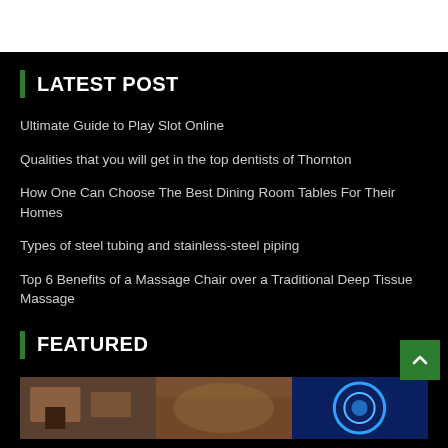LATEST POST
Ultimate Guide to Play Slot Online
Qualities that you will get in the top dentists of Thornton
How One Can Choose The Best Dining Room Tables For Their Homes
Types of steel tubing and stainless-steel piping
Top 6 Benefits of a Massage Chair over a Traditional Deep Tissue Massage
FEATURED
[Figure (photo): Three thumbnail images side by side: interior room, crowd scene, and blue tech/circle graphic]